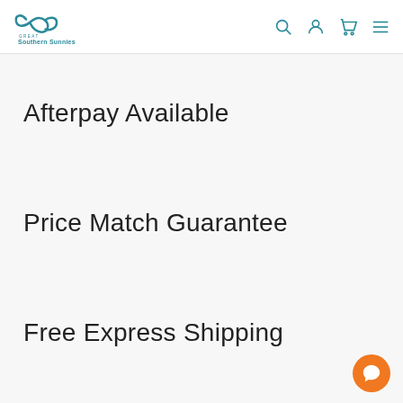Great Southern Sunnies — navigation header with logo, search, account, cart, and menu icons
Afterpay Available
Price Match Guarantee
Free Express Shipping